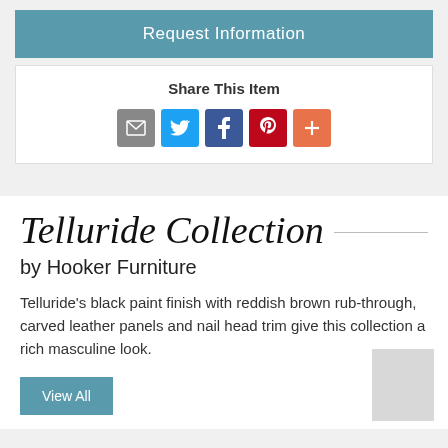Request Information
Share This Item
[Figure (infographic): Social share icons: email (grey), Twitter (blue), Facebook (dark blue), Pinterest (red), More (orange)]
Telluride Collection
by Hooker Furniture
Telluride's black paint finish with reddish brown rub-through, carved leather panels and nail head trim give this collection a rich masculine look.
View All